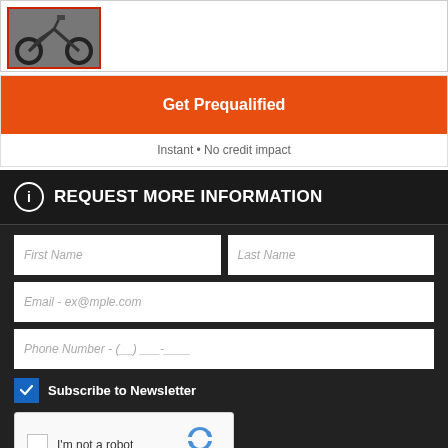[Figure (photo): Dirt bike / motorcycle photo with red border frame]
Get Prequalified
Instant • No credit impact
REQUEST MORE INFORMATION
First Name
Last Name
Email - ex@mple.com
Phone Number - (__) ___-____
Subscribe to Newsletter
[Figure (screenshot): reCAPTCHA widget with checkbox and 'I'm not a robot' text]